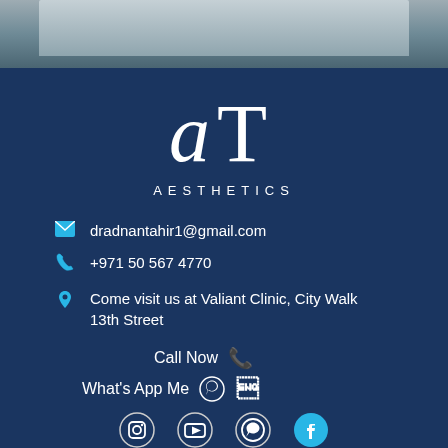[Figure (photo): Top portion showing clinic interior photo, partially visible]
[Figure (logo): AT Aesthetics logo - stylized 'aT' lettering above text AESTHETICS]
dradnantahir1@gmail.com
+971 50 567 4770
Come visit us at Valiant Clinic, City Walk 13th Street
Call Now
What's App Me
[Figure (other): Social media icons row: Instagram, YouTube, WhatsApp, Facebook]